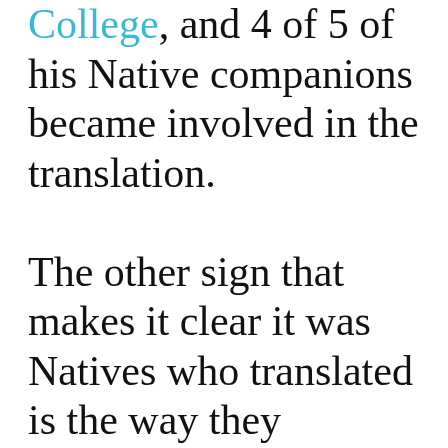College, and 4 of 5 of his Native companions became involved in the translation. The other sign that makes it clear it was Natives who translated is the way they brought to the